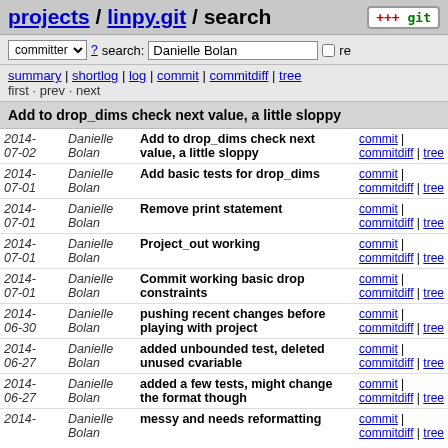projects / linpy.git / search
committer search: Danielle Bolan re
summary | shortlog | log | commit | commitdiff | tree
first · prev · next
Add to drop_dims check next value, a little sloppy
| Date | Author | Message | Links |
| --- | --- | --- | --- |
| 2014-07-02 | Danielle Bolan | Add to drop_dims check next value, a little sloppy | commit | commitdiff | tree |
| 2014-07-01 | Danielle Bolan | Add basic tests for drop_dims | commit | commitdiff | tree |
| 2014-07-01 | Danielle Bolan | Remove print statement | commit | commitdiff | tree |
| 2014-07-01 | Danielle Bolan | Project_out working | commit | commitdiff | tree |
| 2014-07-01 | Danielle Bolan | Commit working basic drop constraints | commit | commitdiff | tree |
| 2014-06-30 | Danielle Bolan | pushing recent changes before playing with project | commit | commitdiff | tree |
| 2014-06-27 | Danielle Bolan | added unbounded test, deleted unused cvariable | commit | commitdiff | tree |
| 2014-06-27 | Danielle Bolan | added a few tests, might change the format though | commit | commitdiff | tree |
| 2014- | Danielle Bolan | messy and needs reformatting | commit | commitdiff | tree |